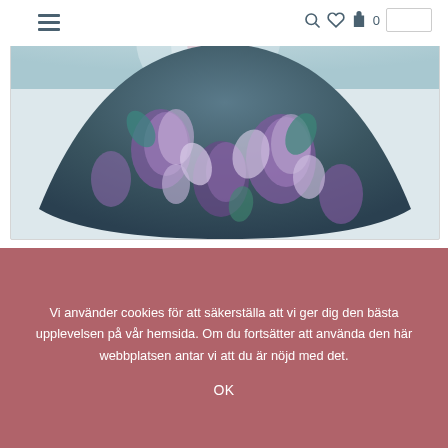[Figure (screenshot): E-commerce website navigation bar with hamburger menu, search icon, heart/wishlist icon, shopping bag with count 0, and search input box]
[Figure (photo): Floral print dress skirt panel - purple and teal floral pattern, full circle skirt shape shown from below]
[Figure (photo): Floral print dress bodice/top panel - purple and teal floral pattern showing the back with zipper]
Vi använder cookies för att säkerställa att vi ger dig den bästa upplevelsen på vår hemsida. Om du fortsätter att använda den här webbplatsen antar vi att du är nöjd med det.
OK